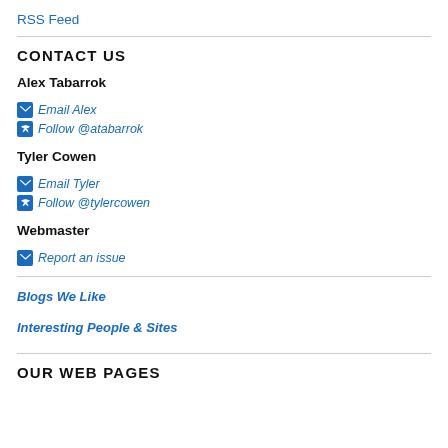RSS Feed
CONTACT US
Alex Tabarrok
Email Alex
Follow @atabarrok
Tyler Cowen
Email Tyler
Follow @tylercowen
Webmaster
Report an issue
Blogs We Like
Interesting People & Sites
OUR WEB PAGES